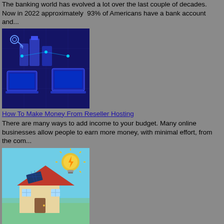The banking world has evolved a lot over the last couple of decades. Now in 2022 approximately 93% of Americans have a bank account and...
[Figure (illustration): Digital banking illustration with blue computers and network icons on dark blue background]
How To Make Money From Reseller Hosting
There are many ways to add income to your budget. Many online businesses allow people to earn more money, with minimal effort, from the com...
[Figure (illustration): Energy saving illustration with house and yellow lightning bolt light bulb on blue background]
17 Energy Saving Tips To Save More Money
Times are tough in this tumultuous economy as costs are skyrocketing for homeowners and landlords alike. Everyone has to tighten their belt...
[Figure (illustration): Grow your small business illustration with red arrow chart going up and doodle style text]
10 Ways To Grow Your Small Business